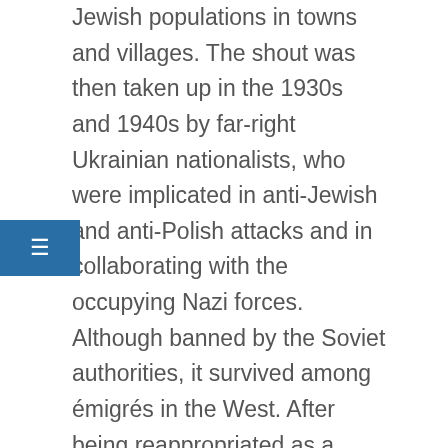Jewish populations in towns and villages. The shout was then taken up in the 1930s and 1940s by far-right Ukrainian nationalists, who were implicated in anti-Jewish and anti-Polish attacks and in collaborating with the occupying Nazi forces. Although banned by the Soviet authorities, it survived among émigrés in the West. After being reappropriated as a patriotic salute among Ukrainians in their struggle against Russia, today it serves President Volodymyr Zelensky to rally international support for war-torn Ukraine. Three recent books excavate this century-old story and shine light on its lasting importance. Elissa Bemporad's Legacy of Blood: Jews, Pogroms, and Ritual Murder in the Lands of the Soviets looks at the memory and consequences of this violence in